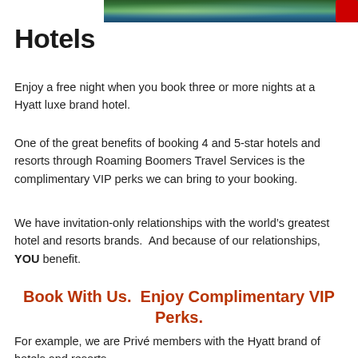[Figure (photo): Partial scenic photo banner showing tropical/resort scenery with a red badge in the top right corner]
Hotels
Enjoy a free night when you book three or more nights at a Hyatt luxe brand hotel.
One of the great benefits of booking 4 and 5-star hotels and resorts through Roaming Boomers Travel Services is the complimentary VIP perks we can bring to your booking.
We have invitation-only relationships with the world’s greatest hotel and resorts brands.  And because of our relationships, YOU benefit.
Book With Us.  Enjoy Complimentary VIP Perks.
For example, we are Privé members with the Hyatt brand of hotels and resorts.